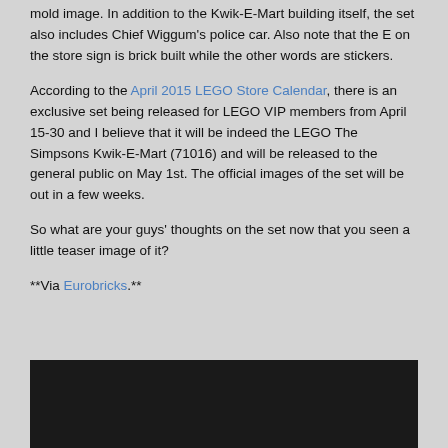mold image. In addition to the Kwik-E-Mart building itself, the set also includes Chief Wiggum's police car. Also note that the E on the store sign is brick built while the other words are stickers.
According to the April 2015 LEGO Store Calendar, there is an exclusive set being released for LEGO VIP members from April 15-30 and I believe that it will be indeed the LEGO The Simpsons Kwik-E-Mart (71016) and will be released to the general public on May 1st. The official images of the set will be out in a few weeks.
So what are your guys' thoughts on the set now that you seen a little teaser image of it?
**Via Eurobricks.**
[Figure (photo): Dark black image region at the bottom of the page]